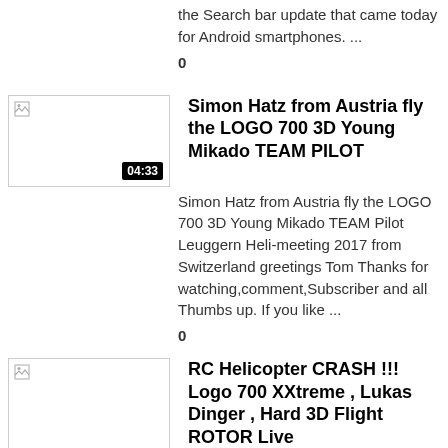the Search bar update that came today for Android smartphones. ...
0
[Figure (photo): Thumbnail image (broken/placeholder) for Simon Hatz Austria LOGO 700 3D video]
Simon Hatz from Austria fly the LOGO 700 3D Young Mikado TEAM PILOT
Simon Hatz from Austria fly the LOGO 700 3D Young Mikado TEAM Pilot Leuggern Heli-meeting 2017 from Switzerland greetings Tom Thanks for watching,comment,Subscriber and all Thumbs up. If you like ...
0
[Figure (photo): Thumbnail image (broken/placeholder) for RC Helicopter CRASH video]
RC Helicopter CRASH !!! Logo 700 XXtreme , Lukas Dinger , Hard 3D Flight ROTOR Live